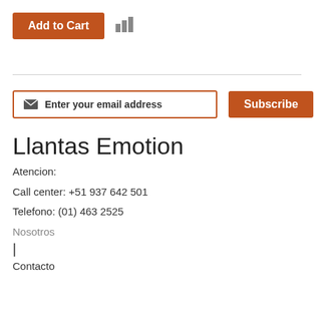Add to Cart
Enter your email address
Subscribe
Llantas Emotion
Atencion:
Call center: +51 937 642 501
Telefono: (01) 463 2525
Nosotros
|
Contacto